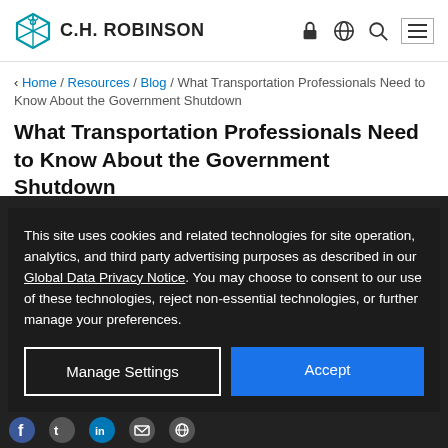C.H. ROBINSON
Home / Resources / Blog / What Transportation Professionals Need to Know About the Government Shutdown
What Transportation Professionals Need to Know About the Government Shutdown
This site uses cookies and related technologies for site operation, analytics, and third party advertising purposes as described in our Global Data Privacy Notice. You may choose to consent to our use of these technologies, reject non-essential technologies, or further manage your preferences.
Manage Settings | Accept